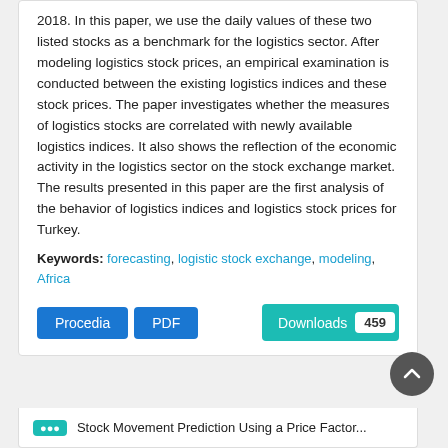2018. In this paper, we use the daily values of these two listed stocks as a benchmark for the logistics sector. After modeling logistics stock prices, an empirical examination is conducted between the existing logistics indices and these stock prices. The paper investigates whether the measures of logistics stocks are correlated with newly available logistics indices. It also shows the reflection of the economic activity in the logistics sector on the stock exchange market. The results presented in this paper are the first analysis of the behavior of logistics indices and logistics stock prices for Turkey.
Keywords: forecasting, logistic stock exchange, modeling, Africa
Procedia | PDF | Downloads 459
Stock Movement Prediction Using a Price Factor...